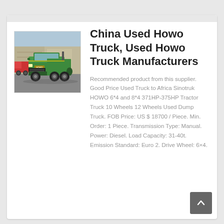[Figure (photo): Green Howo truck (front view) parked in a lot with other trucks and industrial buildings in the background]
China Used Howo Truck, Used Howo Truck Manufacturers
Recommended product from this supplier. Good Price Used Truck to Africa Sinotruk HOWO 6*4 and 8*4 371HP-375HP Tractor Truck 10 Wheels 12 Wheels Used Dump Truck. FOB Price: US $ 18700 / Piece. Min. Order: 1 Piece. Transmission Type: Manual. Power: Diesel. Load Capacity: 31-40t. Emission Standard: Euro 2. Drive Wheel: 6×4.